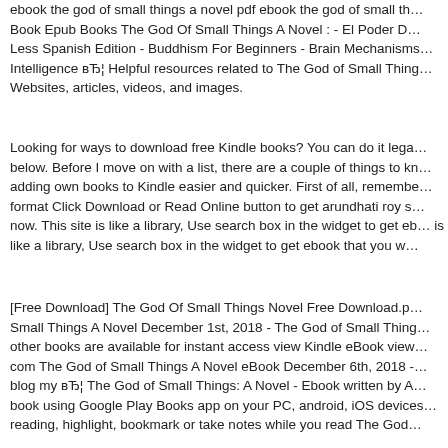ebook the god of small things a novel pdf ebook the god of small things a novel Book Epub Books The God Of Small Things A Novel : - El Poder De Less Spanish Edition - Buddhism For Beginners - Brain Mechanisms Intelligence вЂ¦ Helpful resources related to The God of Small Things Websites, articles, videos, and images.
Looking for ways to download free Kindle books? You can do it legally below. Before I move on with a list, there are a couple of things to know: adding own books to Kindle easier and quicker. First of all, remember format Click Download or Read Online button to get arundhati roy s now. This site is like a library, Use search box in the widget to get eb is like a library, Use search box in the widget to get ebook that you w
[Free Download] The God Of Small Things Novel Free Download.p Small Things A Novel December 1st, 2018 - The God of Small Thing other books are available for instant access view Kindle eBook view com The God of Small Things A Novel eBook December 6th, 2018 - blog my вЂ¦ The God of Small Things: A Novel - Ebook written by A book using Google Play Books app on your PC, android, iOS devices reading, highlight, bookmark or take notes while you read The God